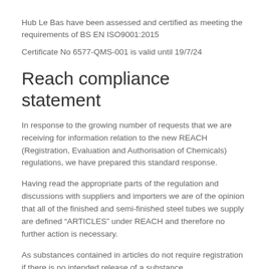Hub Le Bas have been assessed and certified as meeting the requirements of BS EN ISO9001:2015
Certificate No 6577-QMS-001 is valid until 19/7/24
Reach compliance statement
In response to the growing number of requests that we are receiving for information relation to the new REACH (Registration, Evaluation and Authorisation of Chemicals) regulations, we have prepared this standard response.
Having read the appropriate parts of the regulation and discussions with suppliers and importers we are of the opinion that all of the finished and semi-finished steel tubes we supply are defined “ARTICLES” under REACH and therefore no further action is necessary.
As substances contained in articles do not require registration if there is no intended release of a substance